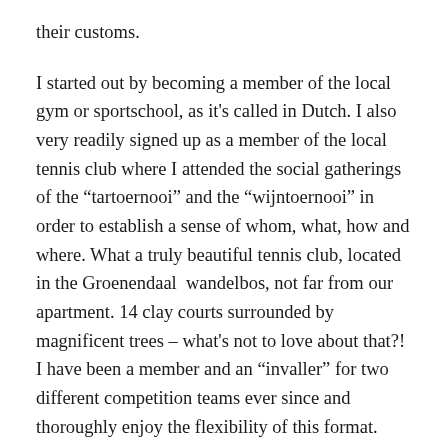their customs.
I started out by becoming a member of the local gym or sportschool, as it's called in Dutch. I also very readily signed up as a member of the local tennis club where I attended the social gatherings of the “tartoernooi” and the “wijntoernooi” in order to establish a sense of whom, what, how and where. What a truly beautiful tennis club, located in the Groenendaal  wandelbos, not far from our apartment. 14 clay courts surrounded by magnificent trees – what's not to love about that?! I have been a member and an “invaller” for two different competition teams ever since and thoroughly enjoy the flexibility of this format.
Fast forward to our nine months of wandering around the world. We found ourselves back in South Africa for